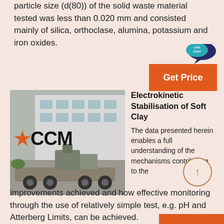particle size (d(80)) of the solid waste material tested was less than 0.020 mm and consisted mainly of silica, orthoclase, alumina, potassium and iron oxides.
[Figure (photo): Photo of a CCM heavy machinery vehicle/crusher on a flatbed truck parked in front of a large industrial building. The CCM logo with a star is visible on the left side.]
Electrokinetic Stabilisation of Soft Clay
The data presented herein enables a full understanding of the mechanisms contributing to the improvements achieved and how effective monitoring through the use of relatively simple test, e.g. pH and Atterberg Limits, can be achieved.